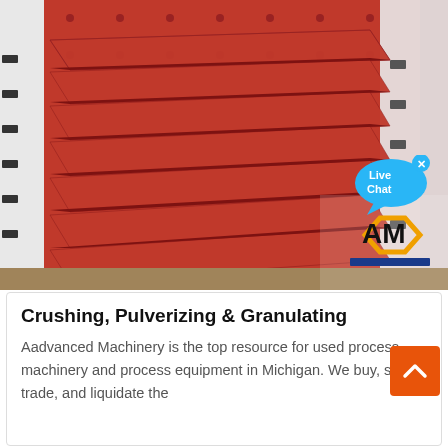[Figure (photo): Industrial crushing/granulating machine with red metal body, white side panels with bolt holes, and multiple angled red metal bars/blades inside. An AM (Aadvanced Machinery) logo watermark is visible in the lower right corner along with a Live Chat bubble overlay.]
Crushing, Pulverizing & Granulating
Aadvanced Machinery is the top resource for used process machinery and process equipment in Michigan. We buy, sell, trade, and liquidate the